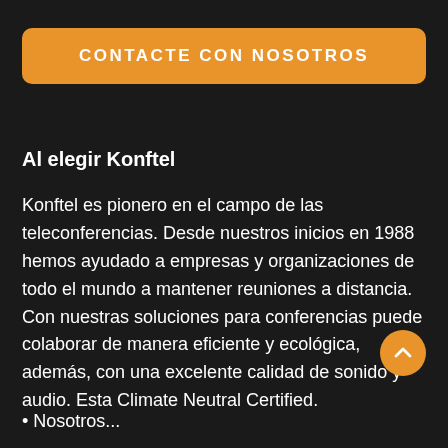CONTACTE CON NOSOTROS
Al elegir Konftel
Konftel es pionero en el campo de las teleconferencias. Desde nuestros inicios en 1988 hemos ayudado a empresas y organizaciones de todo el mundo a mantener reuniones a distancia. Con nuestras soluciones para conferencias puede colaborar de manera eficiente y ecológica, además, con una excelente calidad de sonido y audio. Esta Climate Neutral Certified.
• Nosotros...